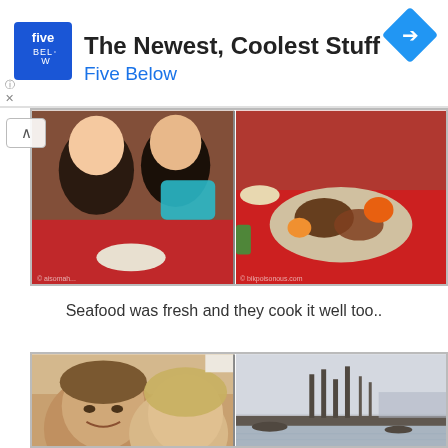[Figure (screenshot): Five Below advertisement banner with logo, title 'The Newest, Coolest Stuff', subtitle 'Five Below', and navigation arrow icon]
[Figure (photo): Two-panel photo strip: left panel shows young women smiling at a food market with red tablecloth; right panel shows a plate of fresh seafood dishes on a red tablecloth]
Seafood was fresh and they cook it well too..
[Figure (photo): Two-panel photo strip: left panel shows a couple taking a selfie smiling; right panel shows an industrial waterfront scene with towers and water]